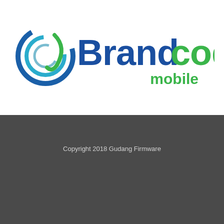[Figure (logo): Brandcode mobile logo: a blue and teal spiral/leaf icon on the left, followed by 'Brand' in bold dark blue text and 'code' in bold green text, with 'mobile' in green below-right]
Copyright 2018 Gudang Firmware